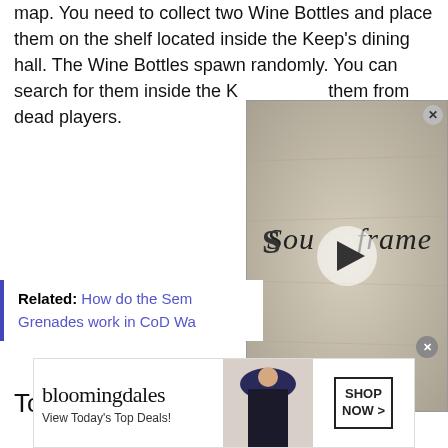map. You need to collect two Wine Bottles and place them on the shelf located inside the Keep's dining hall. The Wine Bottles spawn randomly. You can search for them inside the Keep or loot them from dead players.
[Figure (screenshot): Soulframe video thumbnail with gothic text and a play button overlay]
Related: How do the Semtex Grenades work in CoD Warzone?
Town's Bullseye Easter Egg
[Figure (screenshot): In-game screenshot showing a yellow/olive building exterior with a map overlay UI element]
[Figure (screenshot): In-game screenshot showing a dark corridor interior with warm orange lighting]
[Figure (other): Bloomingdale's advertisement banner: 'View Today's Top Deals!' with a SHOP NOW button and a model in a hat]